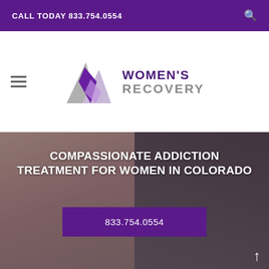CALL TODAY 833.754.0554
[Figure (logo): Women's Recovery logo with triangle mountain shapes in purple and gray, text: WOMEN'S RECOVERY]
[Figure (photo): Background photo of two women, one with red/brown hair on the left, one with dark curly hair on the right, with a dark overlay]
COMPASSIONATE ADDICTION TREATMENT FOR WOMEN IN COLORADO
833.754.0554